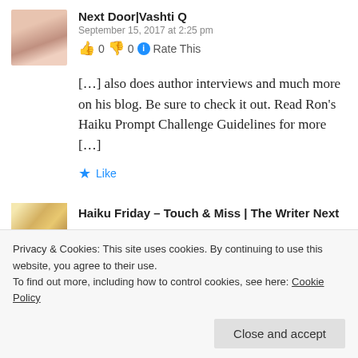Next Door|Vashti Q
September 15, 2017 at 2:25 pm
👍 0 👎 0 ℹ Rate This
[…] also does author interviews and much more on his blog. Be sure to check it out. Read Ron's Haiku Prompt Challenge Guidelines for more […]
★ Like
Haiku Friday – Touch & Miss | The Writer Next
Privacy & Cookies: This site uses cookies. By continuing to use this website, you agree to their use.
To find out more, including how to control cookies, see here: Cookie Policy
Close and accept
[…] also does author interviews and much more on his blog. Be sure to...